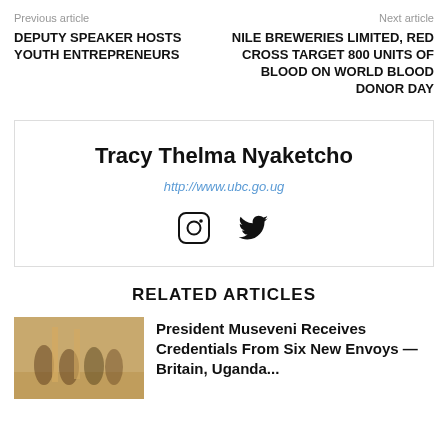Previous article    Next article
DEPUTY SPEAKER HOSTS YOUTH ENTREPRENEURS
NILE BREWERIES LIMITED, RED CROSS TARGET 800 UNITS OF BLOOD ON WORLD BLOOD DONOR DAY
Tracy Thelma Nyaketcho
http://www.ubc.go.ug
RELATED ARTICLES
President Museveni Receives Credentials From Six New Envoys — Britain, Uganda...